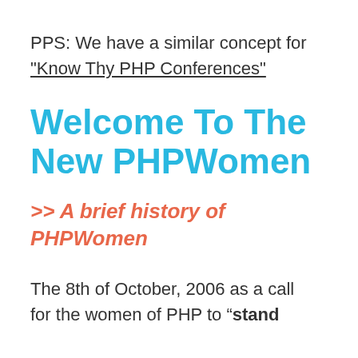PPS: We have a similar concept for “Know Thy PHP Conferences”
Welcome To The New PHPWomen
>> A brief history of PHPWomen
The 8th of October, 2006 as a call for the women of PHP to “stand